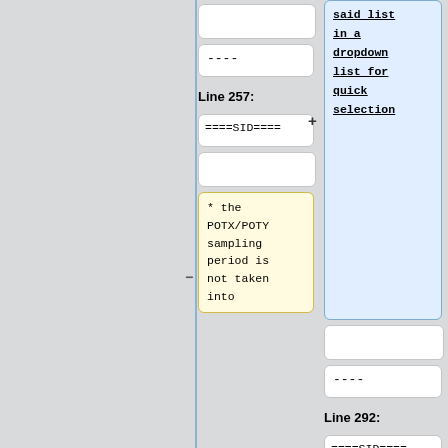[Figure (screenshot): Code diff view showing two columns. Right column top has blue highlighted box with underlined bold monospace text: 'said list in a dropdown list for quick selection'. Below are diff rows: empty input boxes, dashes (----), Line 257 / Line 292 labels, ====SID==== boxes, empty boxes, and yellow/blue highlighted change boxes showing '* the POTX/POTY sampling period is not taken into' with strikethrough on right side.]
said list
in a
dropdown
list for
quick
selection
----
----
Line 257:
Line 292:
====SID====
====SID====
* the POTX/POTY sampling period is not taken into
* the POTX/POTY sampling period is not taken into